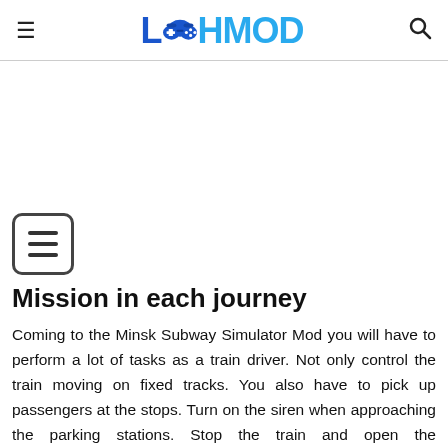LAHMOD
[Figure (other): Advertisement / blank white area]
[Figure (other): Table of contents icon — square with three horizontal lines]
Mission in each journey
Coming to the Minsk Subway Simulator Mod you will have to perform a lot of tasks as a train driver. Not only control the train moving on fixed tracks. You also have to pick up passengers at the stops. Turn on the siren when approaching the parking stations. Stop the train and open the compartment doors, waiting for the passengers to